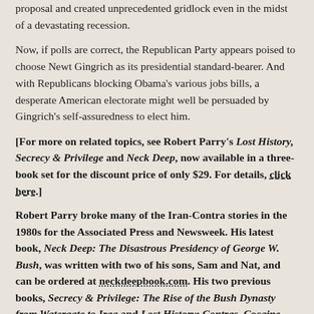proposal and created unprecedented gridlock even in the midst of a devastating recession.
Now, if polls are correct, the Republican Party appears poised to choose Newt Gingrich as its presidential standard-bearer. And with Republicans blocking Obama's various jobs bills, a desperate American electorate might well be persuaded by Gingrich's self-assuredness to elect him.
[For more on related topics, see Robert Parry's Lost History, Secrecy & Privilege and Neck Deep, now available in a three-book set for the discount price of only $29. For details, click here.]
Robert Parry broke many of the Iran-Contra stories in the 1980s for the Associated Press and Newsweek. His latest book, Neck Deep: The Disastrous Presidency of George W. Bush, was written with two of his sons, Sam and Nat, and can be ordered at neckdeepbook.com. His two previous books, Secrecy & Privilege: The Rise of the Bush Dynasty from Watergate to Iraq and Lost History: Contras, Cocaine, the Press & 'Project Truth' are also available there.
Translate »